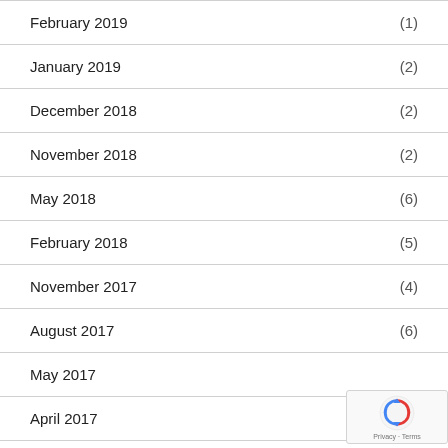February 2019 (1)
January 2019 (2)
December 2018 (2)
November 2018 (2)
May 2018 (6)
February 2018 (5)
November 2017 (4)
August 2017 (6)
May 2017
April 2017